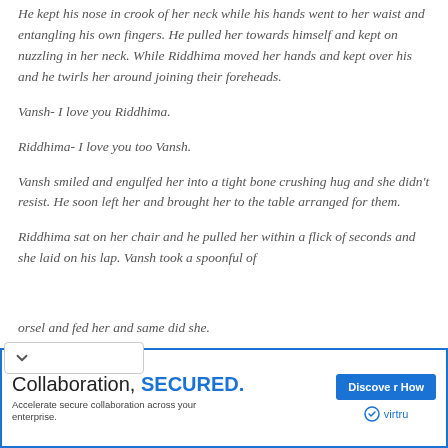He kept his nose in crook of her neck while his hands went to her waist and entangling his own fingers. He pulled her towards himself and kept on nuzzling in her neck. While Riddhima moved her hands and kept over his and he twirls her around joining their foreheads.
Vansh- I love you Riddhima.
Riddhima- I love you too Vansh.
Vansh smiled and engulfed her into a tight bone crushing hug and she didn’t resist. He soon left her and brought her to the table arranged for them.
Riddhima sat on her chair and he pulled her within a flick of seconds and she laid on his lap. Vansh took a spoonful of [m]orsel and fed her and same did she.
[Figure (other): Advertisement banner for Virtru: 'Collaboration, SECURED.' with 'Discover How' button and Virtru logo. Text: Accelerate secure collaboration across your enterprise.]